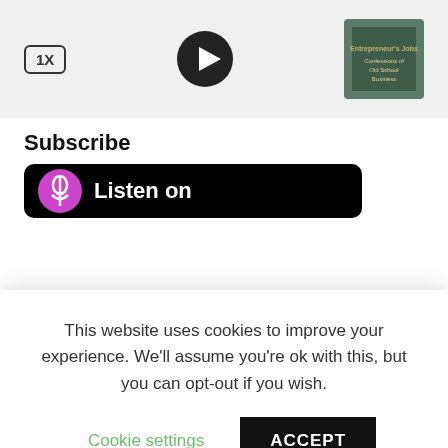[Figure (screenshot): Audio player bar with 1X speed button on left, circular play button in center, and book cover thumbnail on right, on a light gray background]
Subscribe
[Figure (screenshot): Partially visible black rounded button with purple Apple Podcasts icon and 'Listen on' text in white]
This website uses cookies to improve your experience. We'll assume you're ok with this, but you can opt-out if you wish.
Cookie settings   ACCEPT
[Figure (screenshot): Black rounded button with Spotify logo and 'LISTEN ON Spotify' text in green]
Show Notes – Episode 45